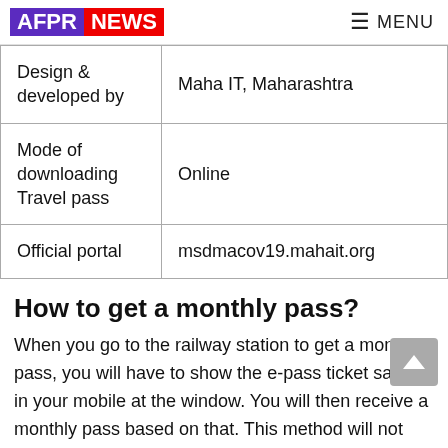AFPR NEWS | MENU
| Design & developed by | Maha IT, Maharashtra |
| Mode of downloading Travel pass | Online |
| Official portal | msdmacov19.mahait.org |
How to get a monthly pass?
When you go to the railway station to get a monthly pass, you will have to show the e-pass ticket saved in your mobile at the window. You will then receive a monthly pass based on that. This method will not require offline verification